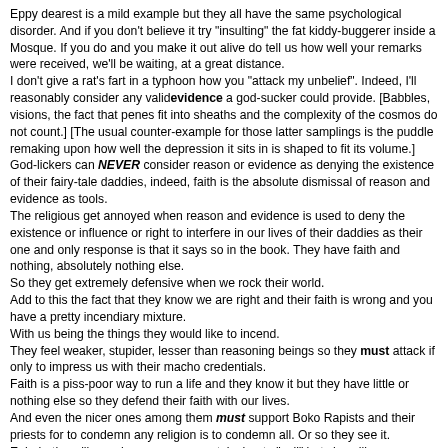Eppy dearest is a mild example but they all have the same psychological disorder. And if you don't believe it try "insulting" the fat kiddy-buggerer inside a Mosque. If you do and you make it out alive do tell us how well your remarks were received, we'll be waiting, at a great distance.
I don't give a rat's fart in a typhoon how you "attack my unbelief". Indeed, I'll reasonably consider any validevidence a god-sucker could provide. [Babbles, visions, the fact that penes fit into sheaths and the complexity of the cosmos do not count.] [The usual counter-example for those latter samplings is the puddle remaking upon how well the depression it sits in is shaped to fit its volume.] God-lickers can NEVER consider reason or evidence as denying the existence of their fairy-tale daddies, indeed, faith is the absolute dismissal of reason and evidence as tools.
The religious get annoyed when reason and evidence is used to deny the existence or influence or right to interfere in our lives of their daddies as their one and only response is that it says so in the book. They have faith and nothing, absolutely nothing else.
So they get extremely defensive when we rock their world.
Add to this the fact that they know we are right and their faith is wrong and you have a pretty incendiary mixture.
With us being the things they would like to incend.
They feel weaker, stupider, lesser than reasoning beings so they must attack if only to impress us with their macho credentials.
Faith is a piss-poor way to run a life and they know it but they have little or nothing else so they defend their faith with our lives.
And even the nicer ones among them must support Boko Rapists and their priests for to condemn any religion is to condemn all. Or so they see it.
Ephphatha will say she opposes a vast, inchoate "evil" but she will never agree that the Boko Bastards' priests are evil.
She can't.
It would lessen her own fantasy.
And provide a crack in the wall of denial into which a little reason might fall. That could never be allowed.